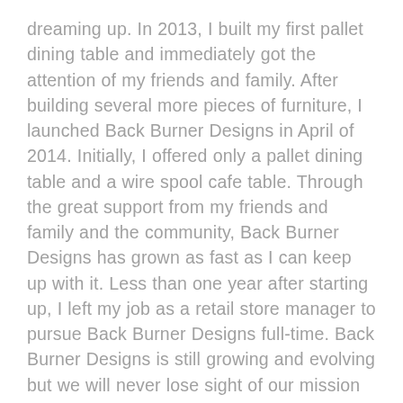dreaming up. In 2013, I built my first pallet dining table and immediately got the attention of my friends and family. After building several more pieces of furniture, I launched Back Burner Designs in April of 2014. Initially, I offered only a pallet dining table and a wire spool cafe table. Through the great support from my friends and family and the community, Back Burner Designs has grown as fast as I can keep up with it. Less than one year after starting up, I left my job as a retail store manager to pursue Back Burner Designs full-time. Back Burner Designs is still growing and evolving but we will never lose sight of our mission to create honest, responsible and unique products.
When I started Back Burner Designs, my mission was to build honest furniture using as much reclaimed wood as possible. I didn't want trees to be cut down for my pieces and I didn't want to use any particle board or plastic veneers – just real reused wood. Back Burner Designs also supports programs that